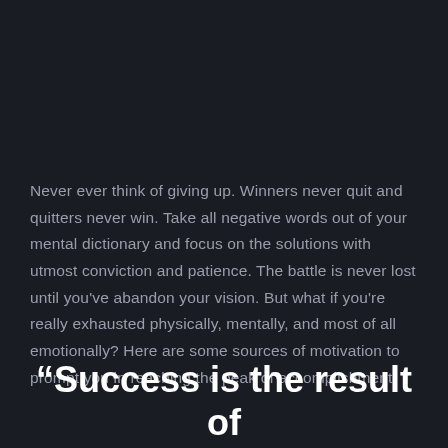Never ever think of giving up. Winners never quit and quitters never win. Take all negative words out of your mental dictionary and focus on the solutions with utmost conviction and patience. The battle is never lost until you've abandon your vision. But what if you're really exhausted physically, mentally, and most of all emotionally? Here are some sources of motivation to prompt you in reaching the peak of accomplishment.
“Success is the result of